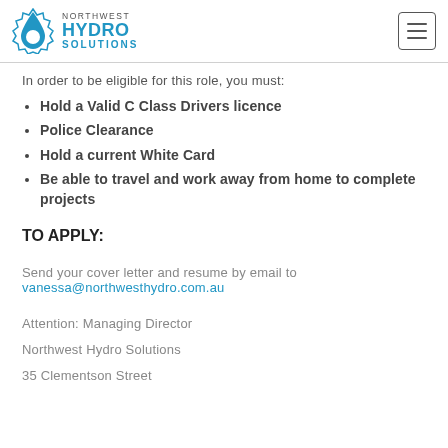Northwest Hydro Solutions
In order to be eligible for this role, you must:
Hold a Valid C Class Drivers licence
Police Clearance
Hold a current White Card
Be able to travel and work away from home to complete projects
TO APPLY:
Send your cover letter and resume by email to vanessa@northwesthydro.com.au
Attention: Managing Director
Northwest Hydro Solutions
35 Clementson Street